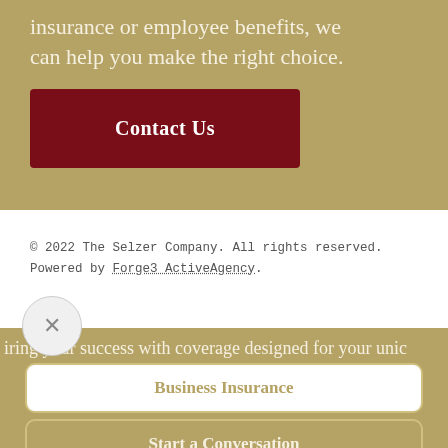insurance or employee benefits, we can help you make the right choice.
Contact Us
© 2022 The Selzer Company. All rights reserved. Powered by Forge3 ActiveAgency.
iring your success with coverage designed for your unic
Business Insurance
Start a Conversation